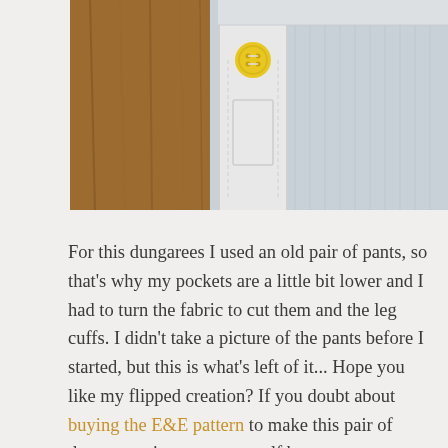[Figure (photo): Close-up photo of dungarees bib/strap area showing a yellow button on a white fabric strap against light blue/grey corduroy fabric, with a wooden background on the left side.]
For this dungarees I used an old pair of pants, so that's why my pockets are a little bit lower and I had to turn the fabric to cut them and the leg cuffs. I didn't take a picture of the pants before I started, but this is what's left of it... Hope you like my flipped creation? If you doubt about buying the E&E pattern to make this pair of dungarees: just treat yourself because